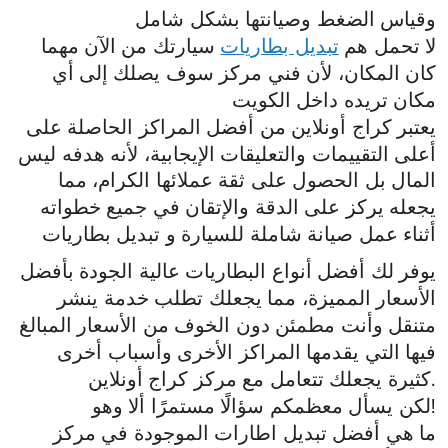وقياس الضغط وصيانتها بشكل شامل لا تحمل هم تبديل بطاريات سيارتك من الآن مهما كان المكان، لأن فني مركز سوف يصلك إلى أي مكان تريده داخل الكويت يعتبر كراج أونلاين من أفضل المراكز الحاصلة على أعلى التقييمات والتعليقات الإيجابية، لأنه هدفه ليس المال بل الحصول على ثقة عملائها الكرام، مما يجعله يركز على الدقة والإتقان في جميع خطواته أثناء عمل صيانة شاملة للسيارة و تبديل بطاريات
يوفر لك أفضل أنواع البطاريات عالية الجودة بأفضل الأسعار المميزة، مما يجعلك تطلب خدمة ينشر متنقل وأنت مطمئن دون الخوف من الأسعار المبالغ فيها التي يقدمها المراكز الأخرى وأسباب أخرى كثيرة يجعلك تتعامل مع مركز كراج أونلاين! لكن يسأل معظمكم سؤالًا مستمرًا ألا وهو ما هي أفضل تبديل اطارات الموجودة في مركز كراج أونلاين؟ يوفر لك أفضل تبديل اطارات الحاصلة على الجودة العالمية بأفضل الأسعار مثل:- تبديل اطارات سيارات جوديير النسر. تبديل اطارات سيارات بريد جستون Bridgestone. تبديل اطارات ميشلان Michelin. تبديل اطارات ألتي ماكس AltiMAX. وليس فقط بل يوفر المركز جميع أنواع تبديل الاطارات ...